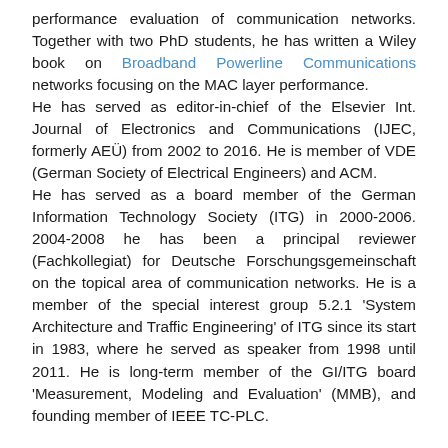performance evaluation of communication networks. Together with two PhD students, he has written a Wiley book on Broadband Powerline Communications networks focusing on the MAC layer performance. He has served as editor-in-chief of the Elsevier Int. Journal of Electronics and Communications (IJEC, formerly AEÜ) from 2002 to 2016. He is member of VDE (German Society of Electrical Engineers) and ACM. He has served as a board member of the German Information Technology Society (ITG) in 2000-2006. 2004-2008 he has been a principal reviewer (Fachkollegiat) for Deutsche Forschungsgemeinschaft on the topical area of communication networks. He is a member of the special interest group 5.2.1 'System Architecture and Traffic Engineering' of ITG since its start in 1983, where he served as speaker from 1998 until 2011. He is long-term member of the GI/ITG board 'Measurement, Modeling and Evaluation' (MMB), and founding member of IEEE TC-PLC.